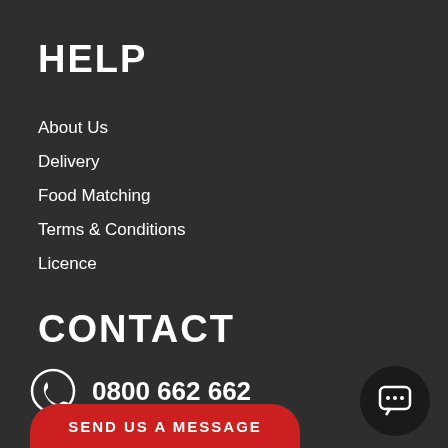HELP
About Us
Delivery
Food Matching
Terms & Conditions
Licence
CONTACT
0800 662 662
SEND US A MESSAGE